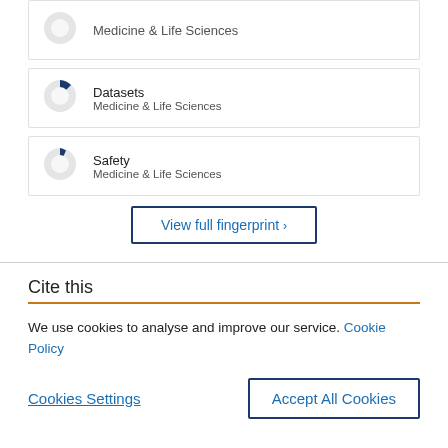Medicine & Life Sciences
Datasets
Medicine & Life Sciences
Safety
Medicine & Life Sciences
View full fingerprint ›
Cite this
We use cookies to analyse and improve our service. Cookie Policy
Cookies Settings
Accept All Cookies